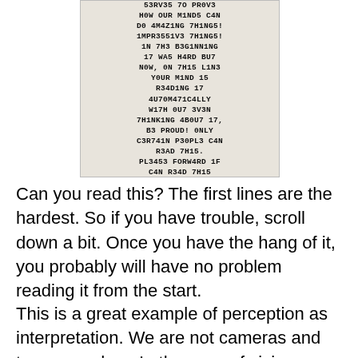[Figure (photo): A photograph of a printed page containing leet-speak text: '53RV35 7O PR0V3 H0W OUR M1ND5 C4N D0 4M4Z1NG 7H1NG5! 1MPR3551V3 7H1NG5! 1N 7H3 B3G1NN1NG 17 WA5 H4RD BU7 N0W, 0N 7H15 L1N3 YOUR M1ND 15 R34D1NG 17 4U70M471C4LLY W17H 0U7 3V3N 7H1NK1NG 4B0U7 17, B3 PROUD! 0NLY C3R741N P30PL3 C4N R3AD 7H15. PL3453 FORW4RD 1F C4N R34D 7H15']
Can you read this? The first lines are the hardest. So if you have trouble, scroll down a bit. Once you have the hang of it, you probably will have no problem reading it from the start.
This is a great example of perception as interpretation. We are not cameras and tape recorders. In the case of vision, we use the optical gestalt rather than information about